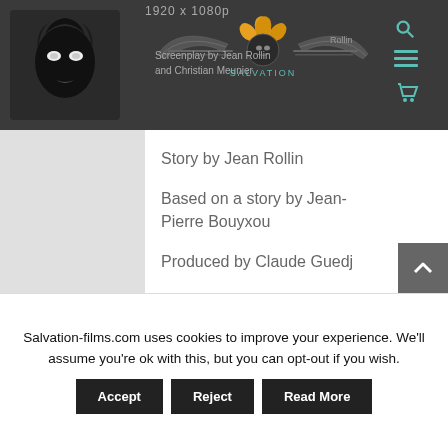1920 x 1080p
[Figure (logo): Dark face logo / avatar on left side of header]
[Figure (logo): Salvation Films ornate logo with wings and floral motif]
Screenplay by Jean Rollin and Christian Meunier
Story by Jean Rollin
Based on a story by Jean-Pierre Bouyxou
Produced by Claude Guedj
Director of photography: Claude Bécognée
Salvation-films.com uses cookies to improve your experience. We'll assume you're ok with this, but you can opt-out if you wish.